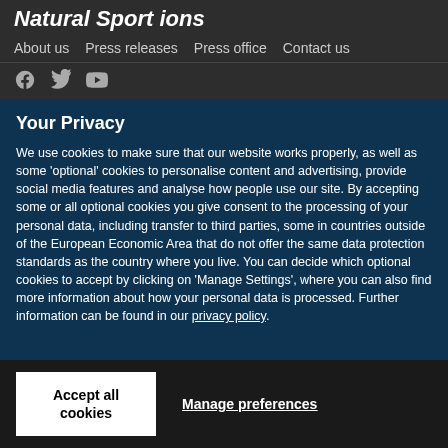Natural Sportions — About us | Press releases | Press office | Contact us
Your Privacy
We use cookies to make sure that our website works properly, as well as some 'optional' cookies to personalise content and advertising, provide social media features and analyse how people use our site. By accepting some or all optional cookies you give consent to the processing of your personal data, including transfer to third parties, some in countries outside of the European Economic Area that do not offer the same data protection standards as the country where you live. You can decide which optional cookies to accept by clicking on 'Manage Settings', where you can also find more information about how your personal data is processed. Further information can be found in our privacy policy.
Accept all cookies
Manage preferences